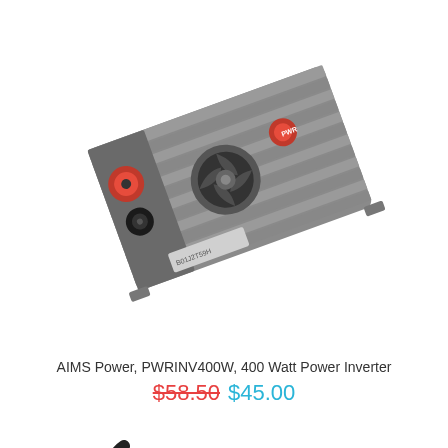[Figure (photo): AIMS Power PWRINV400W 400 Watt Power Inverter product photo. A gray metal ribbed power inverter with red and black battery terminals, a cooling fan vent, and a power button on the front face.]
AIMS Power, PWRINV400W, 400 Watt Power Inverter
$58.50 $45.00
[Figure (photo): AIMS Power 150W power inverter product photo. A compact gray plastic inverter with a black power cord, labeled 150W and showing 12VDC to 120VAC, with UL listing mark visible.]